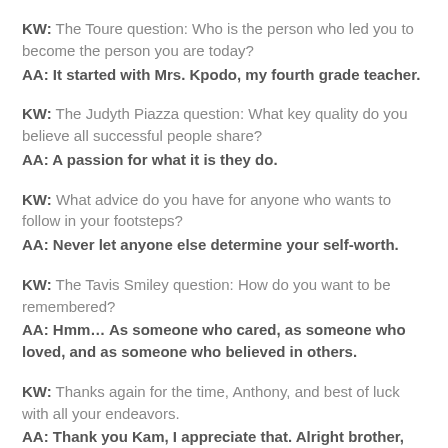KW: The Toure question: Who is the person who led you to become the person you are today?
AA: It started with Mrs. Kpodo, my fourth grade teacher.
KW: The Judyth Piazza question: What key quality do you believe all successful people share?
AA: A passion for what it is they do.
KW: What advice do you have for anyone who wants to follow in your footsteps?
AA: Never let anyone else determine your self-worth.
KW: The Tavis Smiley question: How do you want to be remembered?
AA: Hmm... As someone who cared, as someone who loved, and as someone who believed in others.
KW: Thanks again for the time, Anthony, and best of luck with all your endeavors.
AA: Thank you Kam, I appreciate that. Alright brother, have a good one.